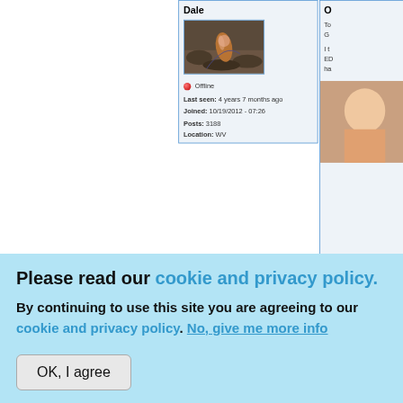Dale
[Figure (photo): Avatar image showing a metallic cylindrical object (bullet or capsule) on rocky ground]
Offline
Last seen: 4 years 7 months ago
Joined: 10/19/2012 - 07:26
Posts: 3188
Location: WV
O... To... G... I t... ED... ha...
Please read our cookie and privacy policy.
By continuing to use this site you are agreeing to our cookie and privacy policy. No, give me more info
OK, I agree